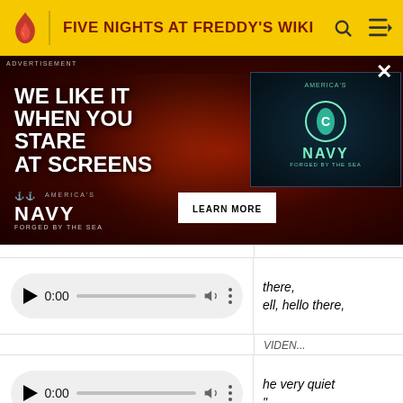FIVE NIGHTS AT FREDDY'S WIKI
[Figure (screenshot): Advertisement banner for America's Navy - 'We Like It When You Stare At Screens' with a woman looking at screens in red-lit environment, and a video thumbnail on the right showing America's Navy - Forged by the Sea logo. A 'Learn More' button is shown. Close (X) button in top right.]
there, ell, hello there,
VIDEN...
he very quiet "
oed off me